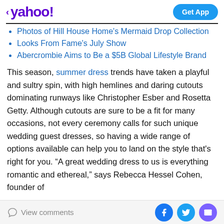yahoo! | Get App
Photos of Hill House Home's Mermaid Drop Collection
Looks From Fame's July Show
Abercrombie Aims to Be a $5B Global Lifestyle Brand
This season, summer dress trends have taken a playful and sultry spin, with high hemlines and daring cutouts dominating runways like Christopher Esber and Rosetta Getty. Although cutouts are sure to be a fit for many occasions, not every ceremony calls for such unique wedding guest dresses, so having a wide range of options available can help you to land on the style that's right for you. “A great wedding dress to us is everything romantic and ethereal,” says Rebecca Hessel Cohen, founder of
View comments